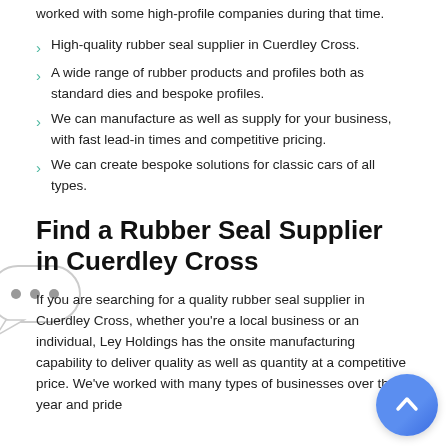worked with some high-profile companies during that time.
High-quality rubber seal supplier in Cuerdley Cross.
A wide range of rubber products and profiles both as standard dies and bespoke profiles.
We can manufacture as well as supply for your business, with fast lead-in times and competitive pricing.
We can create bespoke solutions for classic cars of all types.
Find a Rubber Seal Supplier in Cuerdley Cross
If you are searching for a quality rubber seal supplier in Cuerdley Cross, whether you're a local business or an individual, Ley Holdings has the onsite manufacturing capability to deliver quality as well as quantity at a competitive price. We've worked with many types of businesses over the year and pride